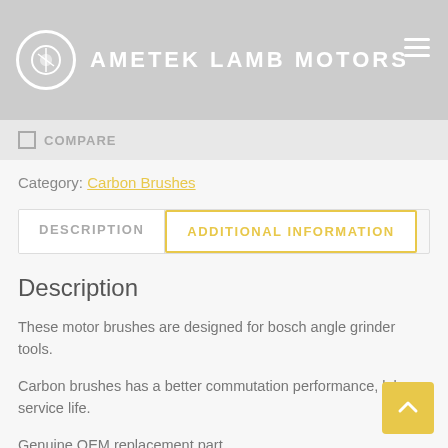AMETEK LAMB MOTORS
COMPARE
Category: Carbon Brushes
DESCRIPTION | ADDITIONAL INFORMATION
Description
These motor brushes are designed for bosch angle grinder tools.
Carbon brushes has a better commutation performance, lobe service life.
Genuine OEM replacement part.
Fit for Bosch models: 1390 slim 4-1/2" small angle grinder